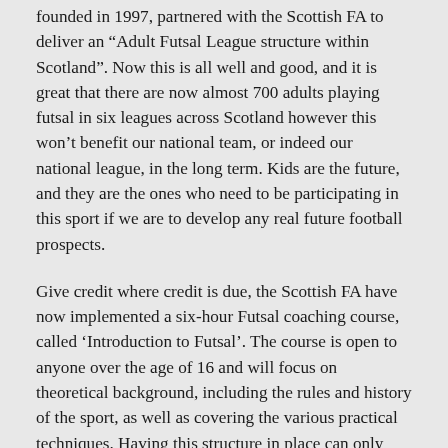founded in 1997, partnered with the Scottish FA to deliver an “Adult Futsal League structure within Scotland”. Now this is all well and good, and it is great that there are now almost 700 adults playing futsal in six leagues across Scotland however this won’t benefit our national team, or indeed our national league, in the long term. Kids are the future, and they are the ones who need to be participating in this sport if we are to develop any real future football prospects.
Give credit where credit is due, the Scottish FA have now implemented a six-hour Futsal coaching course, called ‘Introduction to Futsal’. The course is open to anyone over the age of 16 and will focus on theoretical background, including the rules and history of the sport, as well as covering the various practical techniques. Having this structure in place can only benefit our appreciation and involvement in Futsal, but is it enough? Hopefully this course will quickly develop, and with time I hope it can expand to create its own unique coaching pathway within the Scottish FA coaching structure. The good thing is that Futsal is growing in popularity and now